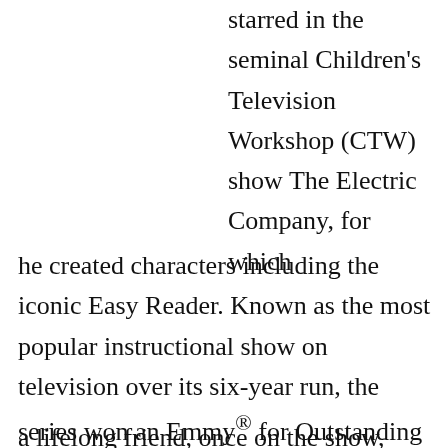starred in the seminal Children's Television Workshop (CTW) show The Electric Company, for which he created characters including the iconic Easy Reader. Known as the most popular instructional show on television over its six-year run, the series won an Emmy® for Outstanding Children's Series and a Grammy® for its soundtrack album. Freeman's indelible impact on a generation was reflected when fellow cast member Rita Moreno, a lifelong friend, once on the show, recalled that